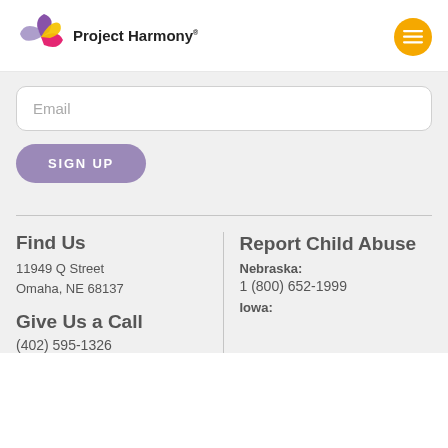[Figure (logo): Project Harmony logo with pinwheel icon and text 'Project Harmony']
Email
SIGN UP
Find Us
11949 Q Street
Omaha, NE 68137
Give Us a Call
(402) 595-1326
Report Child Abuse
Nebraska:
1 (800) 652-1999
Iowa: